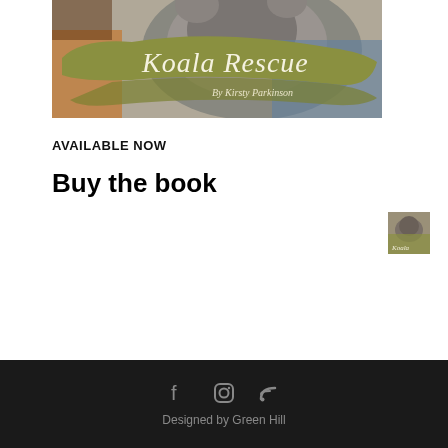[Figure (photo): Book cover for 'Koala Rescue' by Kirsty Parkinson, showing a koala photo with olive-green banner and decorative text]
AVAILABLE NOW
Buy the book
Koala Rescue
$20.00 – $35.00
[Figure (photo): Small thumbnail image of the Koala Rescue book cover]
Designed by Green Hill